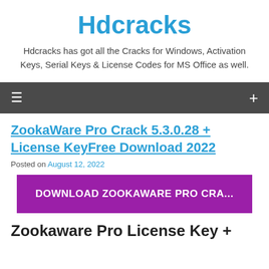Hdcracks
Hdcracks has got all the Cracks for Windows, Activation Keys, Serial Keys & License Codes for MS Office as well.
≡   +
ZookaWare Pro Crack 5.3.0.28 + License KeyFree Download 2022
Posted on August 12, 2022
[Figure (other): Purple download button labeled DOWNLOAD ZOOKAWARE PRO CRA...]
Zookaware Pro License Key +